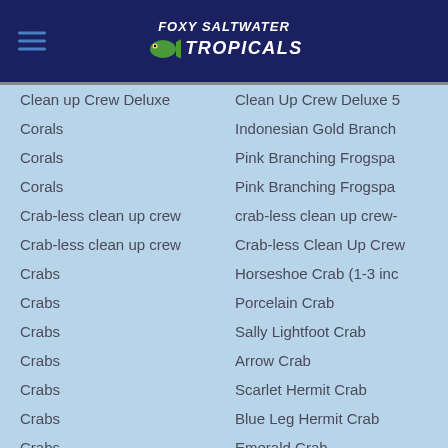FOXY SALTWATER TROPICALS
Clean up Crew Deluxe | Clean Up Crew Deluxe 5
Corals | Indonesian Gold Branch
Corals | Pink Branching Frogspa
Corals | Pink Branching Frogspa
Crab-less clean up crew | crab-less clean up crew-
Crab-less clean up crew | Crab-less Clean Up Crew
Crabs | Horseshoe Crab (1-3 inc
Crabs | Porcelain Crab
Crabs | Sally Lightfoot Crab
Crabs | Arrow Crab
Crabs | Scarlet Hermit Crab
Crabs | Blue Leg  Hermit Crab
Crabs | Emerald Crab
Crabs | Emerald Crab 5 pack
Crabs | Blue Leg  Hermit Crab 5
Crabs | Blue Leg  Hermit Crab 2